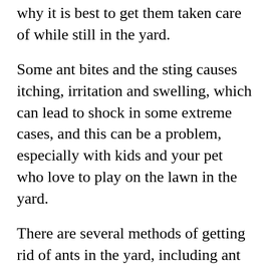why it is best to get them taken care of while still in the yard.
Some ant bites and the sting causes itching, irritation and swelling, which can lead to shock in some extreme cases, and this can be a problem, especially with kids and your pet who love to play on the lawn in the yard.
There are several methods of getting rid of ants in the yard, including ant control bait treatment, ant spraying.
Ant spraying is one of the most effective methods of getting rid of ants in the yard. There are different types of spray ant killer for yards that are effective. At the same time, some have active ingredients that are potentially toxic to pets and humans, such as hydramethylnon and pyrethrin. Some have non